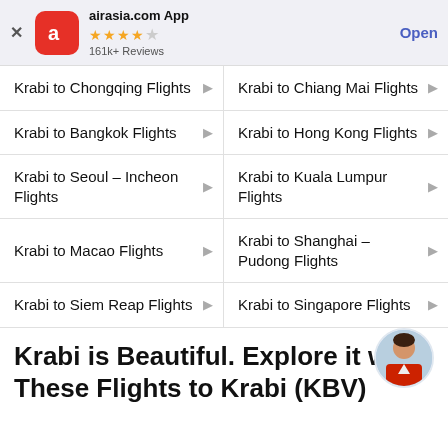[Figure (screenshot): AirAsia app banner with red rounded-square icon, 4.5 star rating, 161k+ Reviews, and Open button]
Krabi to Chongqing Flights
Krabi to Chiang Mai Flights
Krabi to Bangkok Flights
Krabi to Hong Kong Flights
Krabi to Seoul – Incheon Flights
Krabi to Kuala Lumpur Flights
Krabi to Macao Flights
Krabi to Shanghai – Pudong Flights
Krabi to Siem Reap Flights
Krabi to Singapore Flights
Krabi is Beautiful. Explore it with These Flights to Krabi (KBV)